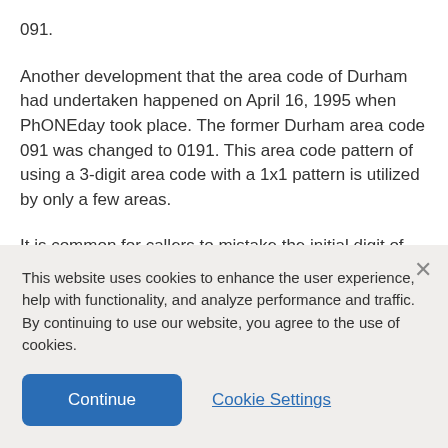091.
Another development that the area code of Durham had undertaken happened on April 16, 1995 when PhONEday took place. The former Durham area code 091 was changed to 0191. This area code pattern of using a 3-digit area code with a 1x1 pattern is utilized by only a few areas.
It is common for callers to mistake the initial digit of the local number as part of the area code. Those that
This website uses cookies to enhance the user experience, help with functionality, and analyze performance and traffic. By continuing to use our website, you agree to the use of cookies.
Continue
Cookie Settings